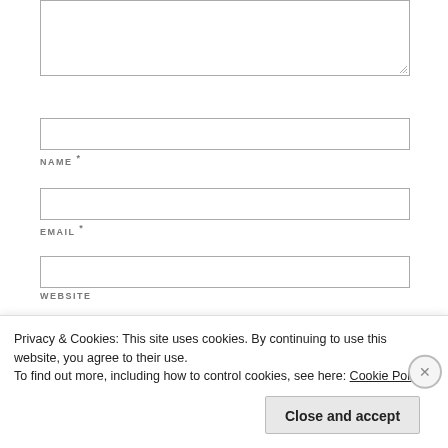[Figure (screenshot): Textarea input box (comment field)]
NAME *
EMAIL *
WEBSITE
Privacy & Cookies: This site uses cookies. By continuing to use this website, you agree to their use.
To find out more, including how to control cookies, see here: Cookie Policy
Close and accept